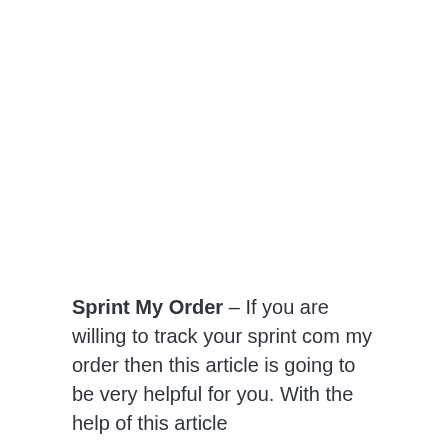Sprint My Order – If you are willing to track your sprint com my order then this article is going to be very helpful for you. With the help of this article